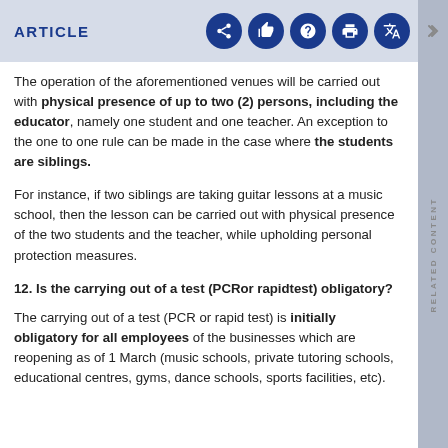ARTICLE
The operation of the aforementioned venues will be carried out with physical presence of up to two (2) persons, including the educator, namely one student and one teacher. An exception to the one to one rule can be made in the case where the students are siblings.
For instance, if two siblings are taking guitar lessons at a music school, then the lesson can be carried out with physical presence of the two students and the teacher, while upholding personal protection measures.
12. Is the carrying out of a test (PCRor rapidtest) obligatory?
The carrying out of a test (PCR or rapid test) is initially obligatory for all employees of the businesses which are reopening as of 1 March (music schools, private tutoring schools, educational centres, gyms, dance schools, sports facilities, etc).